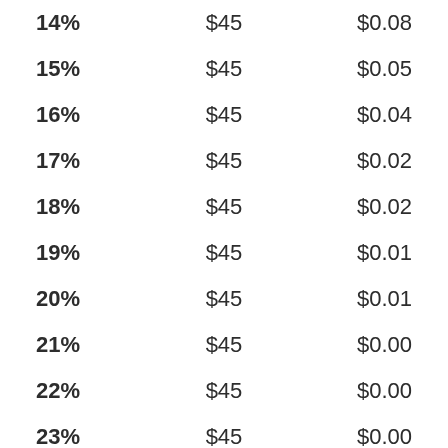| 14% | $45 | $0.08 |
| 15% | $45 | $0.05 |
| 16% | $45 | $0.04 |
| 17% | $45 | $0.02 |
| 18% | $45 | $0.02 |
| 19% | $45 | $0.01 |
| 20% | $45 | $0.01 |
| 21% | $45 | $0.00 |
| 22% | $45 | $0.00 |
| 23% | $45 | $0.00 |
| 24% | $45 | $0.00 |